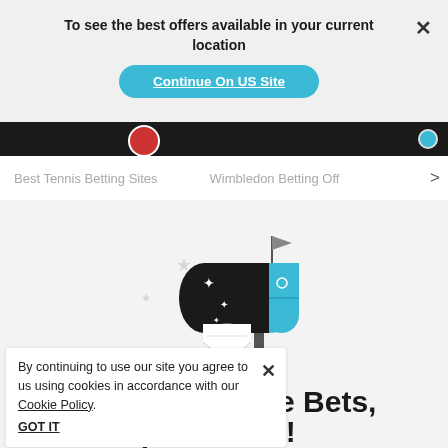To see the best offers available in your current location
Continue On US Site
Best Tennis Betting Sites
Wimbledon Betting Off
[Figure (illustration): Animated mailbox illustration with black and white capsule and blue mailbox body with flag]
By continuing to use our site you agree to us using cookies in accordance with our Cookie Policy.
GOT IT
S                                                               e Bets,
Insider Tips & More!